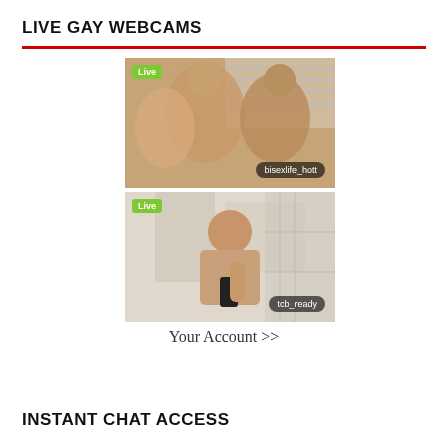LIVE GAY WEBCAMS
[Figure (photo): Live webcam screenshot showing multiple people, username bisexlife_hott with Live badge]
[Figure (photo): Live webcam screenshot showing a man taking a selfie in mirror, username tcb_ready with Live badge]
Your Account >>
INSTANT CHAT ACCESS